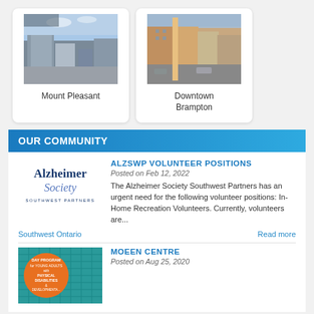[Figure (photo): Photo of Mount Pleasant neighborhood with buildings and blue sky]
Mount Pleasant
[Figure (photo): Photo of Downtown Brampton with urban buildings]
Downtown Brampton
OUR COMMUNITY
[Figure (logo): Alzheimer Society Southwest Partners logo]
ALZSWP VOLUNTEER POSITIONS
Posted on Feb 12, 2022
The Alzheimer Society Southwest Partners has an urgent need for the following volunteer positions: In-Home Recreation Volunteers. Currently, volunteers are...
Southwest Ontario
Read more
[Figure (photo): Moeen Centre program poster for young adults with physical disabilities and developmental needs]
MOEEN CENTRE
Posted on Aug 25, 2020